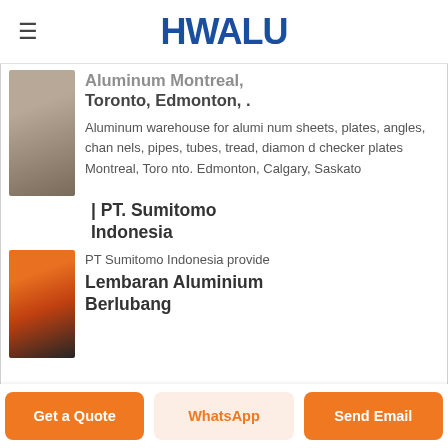HWALU
Aluminum Montreal, Toronto, Edmonton, .
[Figure (photo): Thumbnail image of aluminum material, brownish-grey tone]
Aluminum warehouse for aluminum sheets, plates, angles, channels, pipes, tubes, tread, diamond checker plates Montreal, Toronto. Edmonton, Calgary, Saskato
| PT. Sumitomo Indonesia
[Figure (photo): Thumbnail image of aluminum product, orange and dark tones]
PT Sumitomo Indonesia provide
Lembaran Aluminium Berlubang